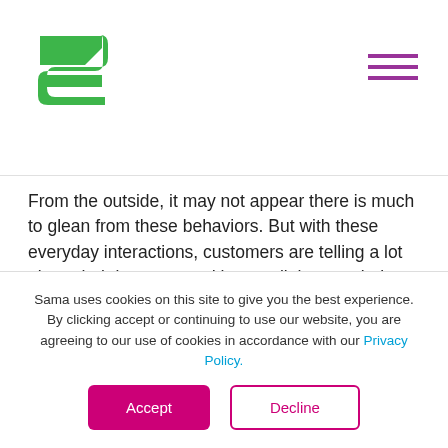[Figure (logo): Sama company logo — green stylized S shape made of two ribbon-like chevrons]
[Figure (other): Hamburger menu icon — three horizontal magenta/purple lines]
From the outside, it may not appear there is much to glean from these behaviors. But with these everyday interactions, customers are telling a lot about their interests and how well they are being served. For retailers, the challenge is capturing the data that will help them understand what customers are telling them.

“Remote sensing” can detect the physical characteristics of an environment, including the
Sama uses cookies on this site to give you the best experience. By clicking accept or continuing to use our website, you are agreeing to our use of cookies in accordance with our Privacy Policy.